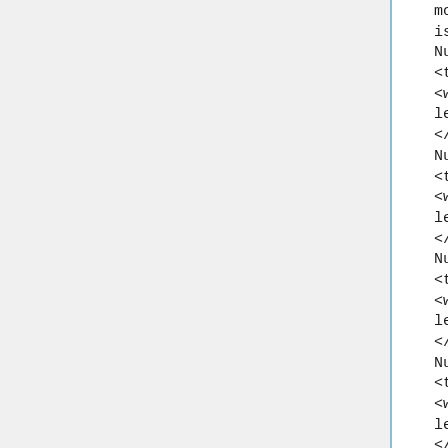morph="strongMorph:TH8735">that is male</w></transChange>
Num 1.16        These
<transChange type="added">
<w lemma="strong:H07148">were</w>
</transChange>
Num 3.19        These
<transChange type="added">
<w lemma="strong:H01992">are</w>
</transChange>
Num 10.28       Thus
<transChange type="added">
<w lemma="strong:H0428">were</w>
</transChange>
Num 13.3
<transChange type="added">
<w lemma="strong:H01992">were</w>
</transChange>
Num 14.28       unto them,
<transChange type="added">
<w